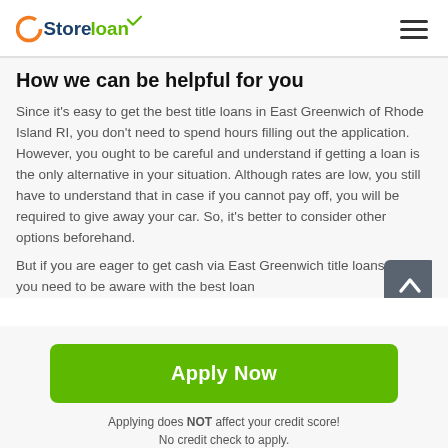Store loan
How we can be helpful for you
Since it's easy to get the best title loans in East Greenwich of Rhode Island RI, you don't need to spend hours filling out the application. However, you ought to be careful and understand if getting a loan is the only alternative in your situation. Although rates are low, you still have to understand that in case if you cannot pay off, you will be required to give away your car. So, it's better to consider other options beforehand.
But if you are eager to get cash via East Greenwich title loans, then you need to be aware with the best loan...
[Figure (other): Scroll-up button with upward arrow icon]
Apply Now
Applying does NOT affect your credit score!
No credit check to apply.